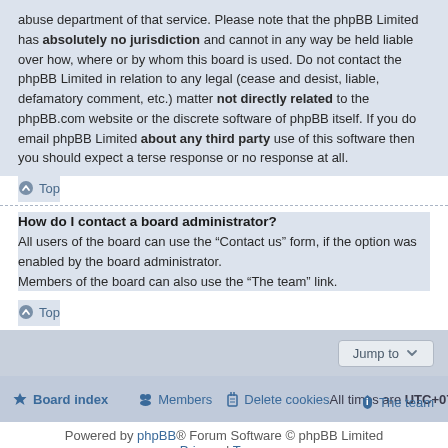abuse department of that service. Please note that the phpBB Limited has absolutely no jurisdiction and cannot in any way be held liable over how, where or by whom this board is used. Do not contact the phpBB Limited in relation to any legal (cease and desist, liable, defamatory comment, etc.) matter not directly related to the phpBB.com website or the discrete software of phpBB itself. If you do email phpBB Limited about any third party use of this software then you should expect a terse response or no response at all.
Top
How do I contact a board administrator?
All users of the board can use the “Contact us” form, if the option was enabled by the board administrator.
Members of the board can also use the “The team” link.
Top
Jump to
Board index  Members  Delete cookies  All times are UTC+07:00  The team
Powered by phpBB® Forum Software © phpBB Limited  Privacy | Terms